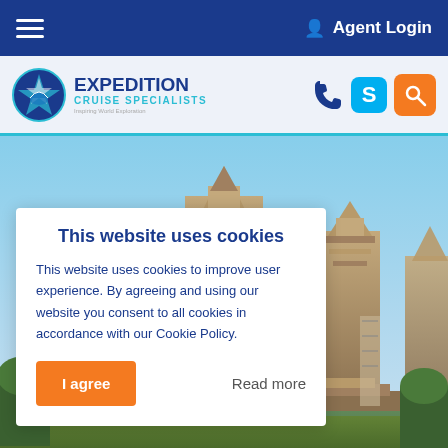Agent Login
[Figure (logo): Expedition Cruise Specialists logo with compass/ship emblem]
[Figure (photo): Angkor Wat temple towers with blue sky background]
This website uses cookies
This website uses cookies to improve user experience. By agreeing and using our website you consent to all cookies in accordance with our Cookie Policy.
I agree
Read more